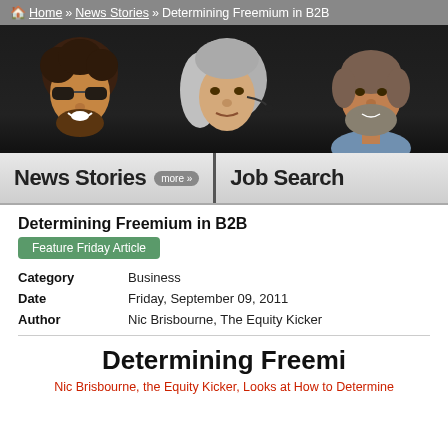Home » News Stories » Determining Freemium in B2B
[Figure (photo): Three head/face photos of people against a dark background]
News Stories more >> Job Search
Determining Freemium in B2B
Feature Friday Article
| Field | Value |
| --- | --- |
| Category | Business |
| Date | Friday, September 09, 2011 |
| Author | Nic Brisbourne, The Equity Kicker |
Determining Freemi
Nic Brisbourne, the Equity Kicker, Looks at How to Determine